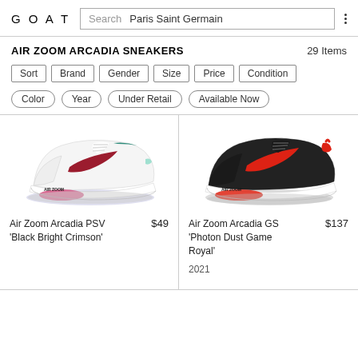GOAT  Search  Paris Saint Germain
AIR ZOOM ARCADIA SNEAKERS   29 Items
Sort
Brand
Gender
Size
Price
Condition
Color
Year
Under Retail
Available Now
[Figure (photo): Nike Air Zoom Arcadia PSV sneaker, white with red swoosh and pink air unit, side profile view]
Air Zoom Arcadia PSV 'Black Bright Crimson'	$49
[Figure (photo): Nike Air Zoom Arcadia GS sneaker, black with red swoosh and red air unit, side profile view]
Air Zoom Arcadia GS 'Photon Dust Game Royal'	$137
2021